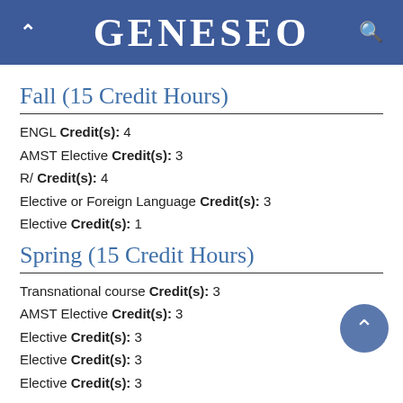GENESEO
Fall (15 Credit Hours)
ENGL Credit(s): 4
AMST Elective Credit(s): 3
R/ Credit(s): 4
Elective or Foreign Language Credit(s): 3
Elective Credit(s): 1
Spring (15 Credit Hours)
Transnational course Credit(s): 3
AMST Elective Credit(s): 3
Elective Credit(s): 3
Elective Credit(s): 3
Elective Credit(s): 3
Fourth Year